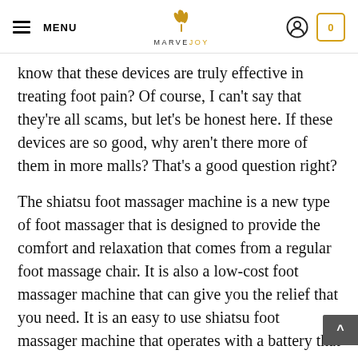MENU | MARVEJOY | 0
know that these devices are truly effective in treating foot pain? Of course, I can't say that they're all scams, but let's be honest here. If these devices are so good, why aren't there more of them in more malls? That's a good question right?
The shiatsu foot massager machine is a new type of foot massager that is designed to provide the comfort and relaxation that comes from a regular foot massage chair. It is also a low-cost foot massager machine that can give you the relief that you need. It is an easy to use shiatsu foot massager machine that operates with a battery that lasts many hours on a single charge. It is simple to use and easy to install.